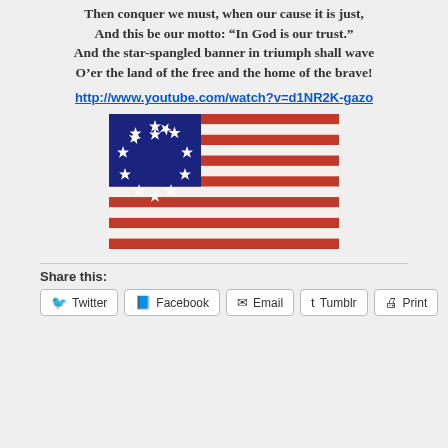Then conquer we must, when our cause it is just,
And this be our motto: “In God is our trust.”
And the star-spangled banner in triumph shall wave
O’er the land of the free and the home of the brave!
http://www.youtube.com/watch?v=d1NR2K-gazo
[Figure (illustration): Betsy Ross flag (13-star American flag) with blue canton containing 13 stars in a circle, and 13 red and white alternating stripes.]
Share this:
Twitter
Facebook
Email
Tumblr
Print